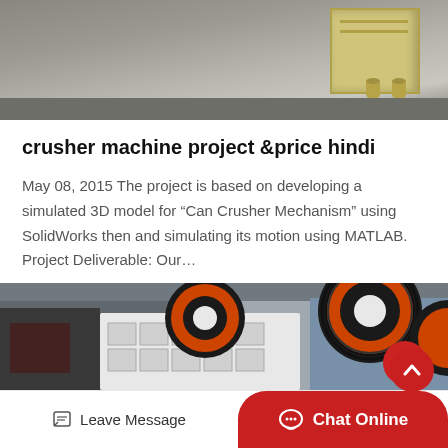[Figure (photo): Top portion of an industrial machine (yellow/beige colored equipment) on a factory floor, gray concrete floor visible]
crusher machine project &price hindi
May 08, 2015 The project is based on developing a simulated 3D model for “Can Crusher Mechanism” using SolidWorks then and simulating its motion using MATLAB. Project Deliverable: Our…
[Figure (photo): Industrial jaw crusher machine with large orange and black flywheel wheels in a factory warehouse setting]
Leave Message
Chat Online